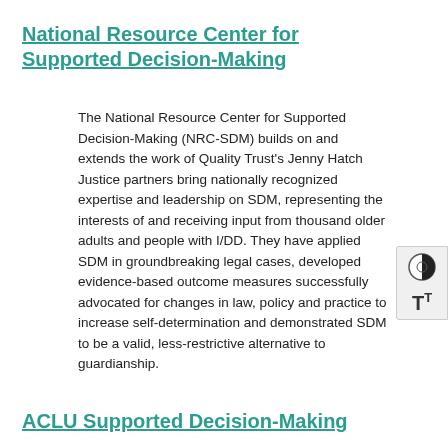National Resource Center for Supported Decision-Making
The National Resource Center for Supported Decision-Making (NRC-SDM) builds on and extends the work of Quality Trust's Jenny Hatch Justice partners bring nationally recognized expertise and leadership on SDM, representing the interests of and receiving input from thousands of older adults and people with I/DD. They have applied SDM in groundbreaking legal cases, developed evidence-based outcome measures, successfully advocated for changes in law, policy and practice to increase self-determination and demonstrated SDM to be a valid, less-restrictive alternative to guardianship.
ACLU Supported Decision-Making